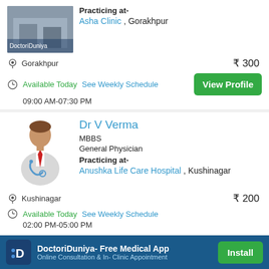[Figure (photo): Doctor clinic photo with DoctoriDuniya watermark]
Practicing at-
Asha Clinic , Gorakhpur
Gorakhpur
₹ 300
Available Today   See Weekly Schedule
09:00 AM-07:30 PM
View Profile
Dr V Verma
MBBS
General Physician
Practicing at-
Anushka Life Care Hospital , Kushinagar
Kushinagar
₹ 200
Available Today   See Weekly Schedule
02:00 PM-05:00 PM
DoctoriDuniya- Free Medical App
Online Consultation & In- Clinic Appointment
Install